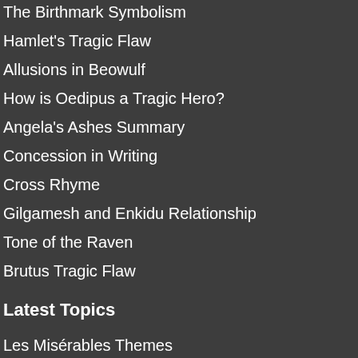The Birthmark Symbolism
Hamlet's Tragic Flaw
Allusions in Beowulf
How is Oedipus a Tragic Hero?
Angela's Ashes Summary
Concession in Writing
Cross Rhyme
Gilgamesh and Enkidu Relationship
Tone of the Raven
Brutus Tragic Flaw
Latest Topics
Les Misérables Themes
What is Brutus Tragic Flaw
Why is Oedipus a Tragic Hero?